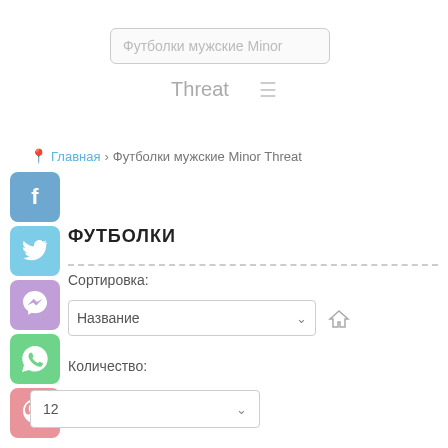Футболки мужские Minor
Threat ≡
📍 Главная › Футболки мужские Minor Threat
[Figure (screenshot): Social media share icons: Facebook (blue), Twitter (light blue), Viber (purple), WhatsApp (green), Pinterest (pink)]
ФУТБОЛКИ
Сортировка:
Название  ∨  🏠
Количество:
12  ∨